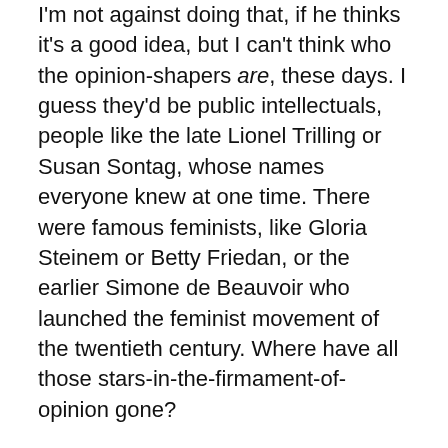I'm not against doing that, if he thinks it's a good idea, but I can't think who the opinion-shapers are, these days. I guess they'd be public intellectuals, people like the late Lionel Trilling or Susan Sontag, whose names everyone knew at one time. There were famous feminists, like Gloria Steinem or Betty Friedan, or the earlier Simone de Beauvoir who launched the feminist movement of the twentieth century. Where have all those stars-in-the-firmament-of-opinion gone?
Are there any opinion-shaping public intellectuals these days? Certainly it's not as familiar a type as it once was. I can think of people whose opinions I value because their intellects are disciplined, their minds fine and their characters upright. But I can't think of anyone whose intelligence and character have made themselves audible and visible in today's static-saturated world!